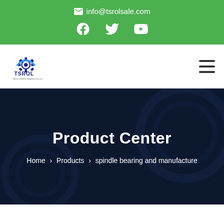info@tsrolsale.com
[Figure (logo): TSROL company logo with gear icon]
Product Center
Home > Products > spindle bearing and manufacture